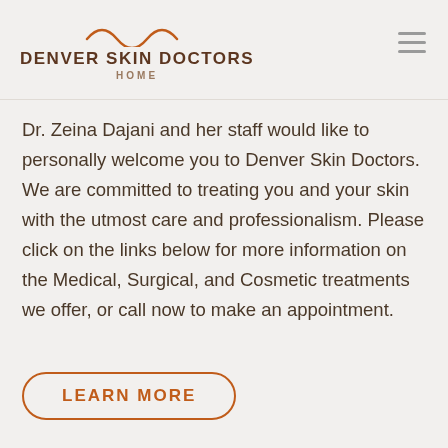DENVER SKIN DOCTORS HOME
Dr. Zeina Dajani and her staff would like to personally welcome you to Denver Skin Doctors. We are committed to treating you and your skin with the utmost care and professionalism. Please click on the links below for more information on the Medical, Surgical, and Cosmetic treatments we offer, or call now to make an appointment.
LEARN MORE